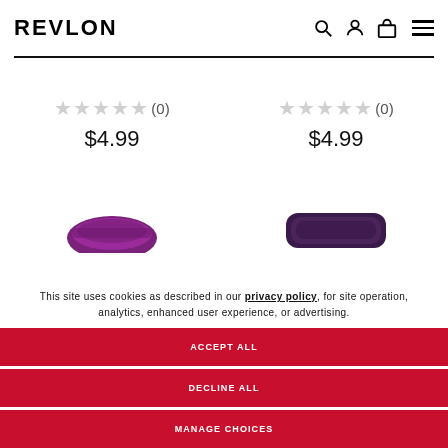REVLON
★★★★★ (0)  $4.99
★★★★★ (0)  $4.99
[Figure (photo): Purple Revlon hair product partially visible at bottom left]
[Figure (photo): Dark purple/black Revlon hair product partially visible at bottom right]
This site uses cookies as described in our privacy policy, for site operation, analytics, enhanced user experience, or advertising.
ACCEPT ALL
DECLINE ALL
MANAGE CHOICES